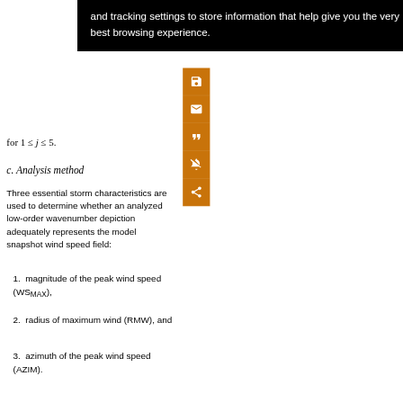and tracking settings to store information that help give you the very best browsing experience.
c. Analysis method
Three essential storm characteristics are used to determine whether an analyzed low-order wavenumber depiction adequately represents the model snapshot wind speed field:
magnitude of the peak wind speed (WS_MAX),
radius of maximum wind (RMW), and
azimuth of the peak wind speed (AZIM).